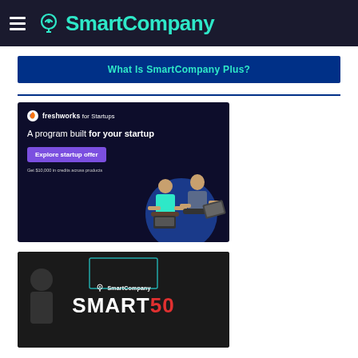SmartCompany
What Is SmartCompany Plus?
[Figure (infographic): Freshworks for Startups advertisement: dark navy background with logo, tagline 'A program built for your startup', purple 'Explore startup offer' button, '$10,000 in credits across products', and two young people with laptops sitting back-to-back.]
[Figure (infographic): SmartCompany SMART50 advertisement banner with dark background, SmartCompany logo, and large SMART50 text in white and red.]